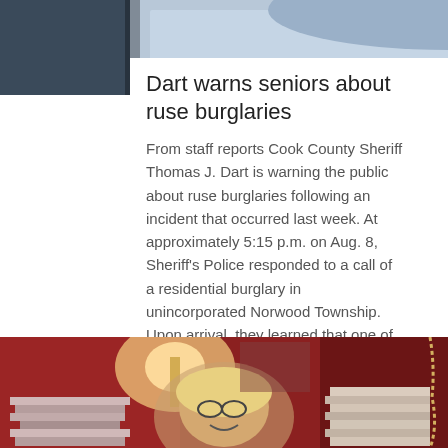[Figure (photo): Top portion of a person wearing a light blue shirt, partial view of upper body and chin area, dark background]
Dart warns seniors about ruse burglaries
From staff reports Cook County Sheriff Thomas J. Dart is warning the public about ruse burglaries following an incident that occurred last week. At approximately 5:15 p.m. on Aug. 8, Sheriff's Police responded to a call of a residential burglary in unincorporated Norwood Township. Upon arrival, they learned that one of the five unidentified offenders.......
[Figure (photo): Person with blonde hair and glasses smiling, surrounded by stacks of books, warm reddish lamp light in background]